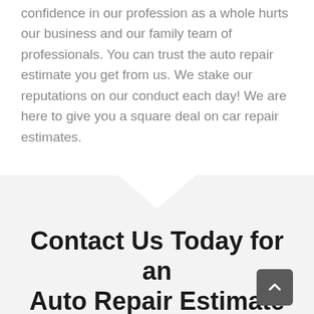confidence in our profession as a whole hurts our business and our family team of professionals. You can trust the auto repair estimate you get from us. We stake our reputations on our conduct each day! We are here to give you a square deal on car repair estimates.
Contact Us Today for an Auto Repair Estimate
We are ready to get to the heart of any problems